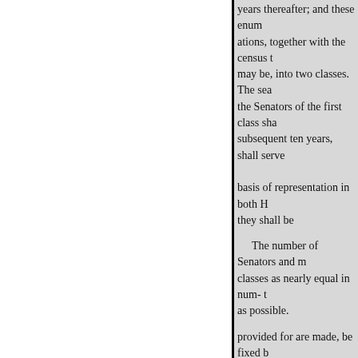years thereafter; and these enum ations, together with the census t may be, into two classes. The sea the Senators of the first class sha subsequent ten years, shall serve basis of representation in both H they shall be
The number of Senators and m classes as nearly equal in num- t as possible.
provided for are made, be fixed b own officers, and judge of the ar accordqualifications, elections, a
ing to the number of white inhab constitute a quorum to do Assem but a smaller number may adjou State shall amount to one
SEC. 2.